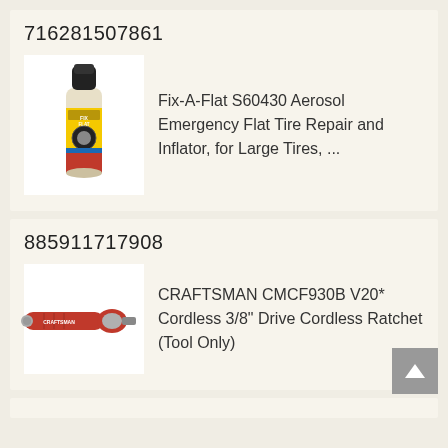716281507861
[Figure (photo): Fix-A-Flat S60430 aerosol spray can with yellow and red label showing a tire]
Fix-A-Flat S60430 Aerosol Emergency Flat Tire Repair and Inflator, for Large Tires, ...
885911717908
[Figure (photo): CRAFTSMAN CMCF930B V20 cordless ratchet tool in red color]
CRAFTSMAN CMCF930B V20* Cordless 3/8" Drive Cordless Ratchet (Tool Only)
▲